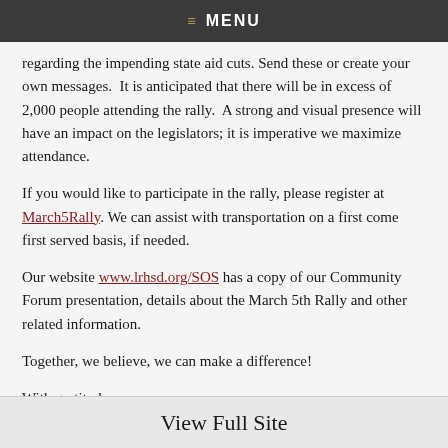≡ MENU
regarding the impending state aid cuts. Send these or create your own messages. It is anticipated that there will be in excess of 2,000 people attending the rally. A strong and visual presence will have an impact on the legislators; it is imperative we maximize attendance.
If you would like to participate in the rally, please register at March5Rally. We can assist with transportation on a first come first served basis, if needed.
Our website www.lrhsd.org/SOS has a copy of our Community Forum presentation, details about the March 5th Rally and other related information.
Together, we believe, we can make a difference!
With gratitude,
Dr. Carol L. Birnbohm
Superintendent of Schools
View Full Site